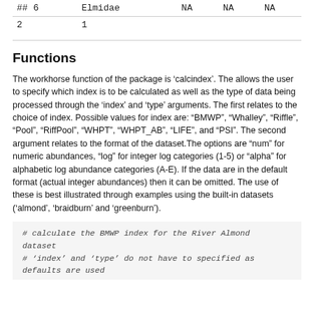| ## 6 | Elmidae | NA | NA | NA |
| 2 | 1 |  |  |  |
Functions
The workhorse function of the package is 'calcindex'. The allows the user to specify which index is to be calculated as well as the type of data being processed through the 'index' and 'type' arguments. The first relates to the choice of index. Possible values for index are: “BMWP”, “Whalley”, “Riffle”, “Pool”, “RiffPool”, “WHPT”, “WHPT_AB”, “LIFE”, and “PSI”. The second argument relates to the format of the dataset.The options are “num” for numeric abundances, “log” for integer log categories (1-5) or “alpha” for alphabetic log abundance categories (A-E). If the data are in the default format (actual integer abundances) then it can be omitted. The use of these is best illustrated through examples using the built-in datasets ('almond', 'braidburn' and 'greenburn').
# calculate the BMWP index for the River Almond dataset
# 'index' and 'type' do not have to specified as defaults are used